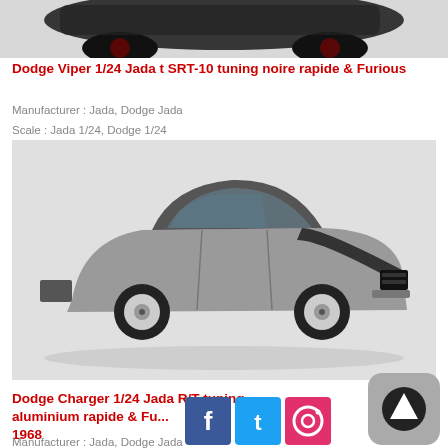[Figure (photo): Partial top view of a black Dodge Viper model car (cropped)]
Dodge Viper 1/24 Jada t SRT-10 tuning noire rapide & Furious
Manufacturer : Jada, Dodge Jada
Scale : Jada 1/24, Dodge 1/24
[Figure (photo): Silver/aluminium Dodge Charger R/T 1968 1/24 scale model car, tuning style, on white background]
Dodge Charger 1/24 Jada R/T tuning aluminium rapide & Fu... 1968
Manufacturer : Jada, Dodge Jada